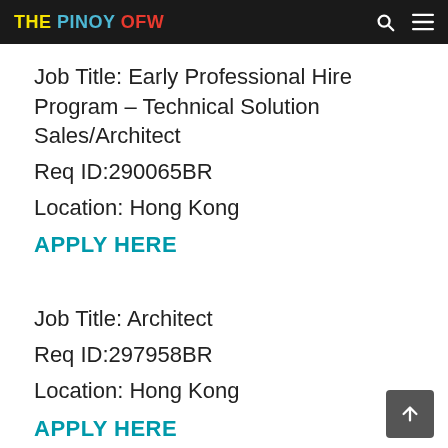THE PINOY OFW
Job Title: Early Professional Hire Program – Technical Solution Sales/Architect
Req ID:290065BR
Location: Hong Kong
APPLY HERE
Job Title: Architect
Req ID:297958BR
Location: Hong Kong
APPLY HERE